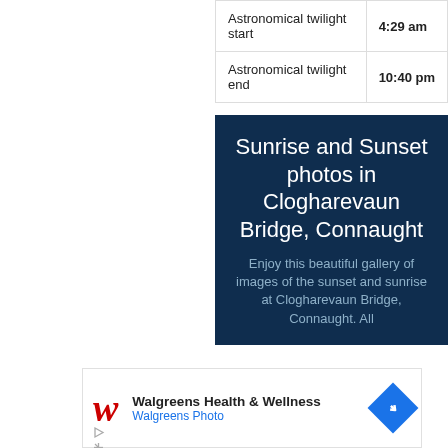| Astronomical twilight start | 4:29 am |
| Astronomical twilight end | 10:40 pm |
[Figure (infographic): Dark navy blue promotional box with white heading 'Sunrise and Sunset photos in Clogharevaun Bridge, Connaught' and muted blue subtext 'Enjoy this beautiful gallery of images of the sunset and sunrise at Clogharevaun Bridge, Connaught. All']
[Figure (screenshot): Walgreens Health & Wellness advertisement banner with red cursive W logo, bold text 'Walgreens Health & Wellness', blue subtext 'Walgreens Photo', and a blue diamond navigation icon on the right.]